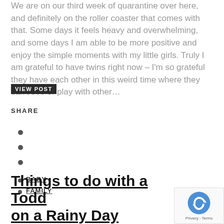We are on our third week of quarantine over here, and definitely on the roller coaster that comes with that. Some days it feels heavy and overwhelming, and some days I am able to be more positive and enjoy the simple moments with my little girls. Truly I am grateful to have twins right now – I'm so grateful they have each other in this weird time where they can't see or play with other…
VIEW POST
SHARE
BABY
FAMILY
Things to do with a Toddler on a Rainy Day